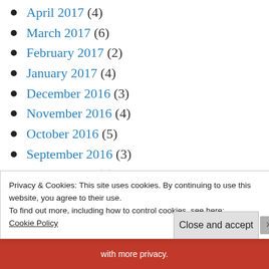April 2017 (4)
March 2017 (6)
February 2017 (2)
January 2017 (4)
December 2016 (3)
November 2016 (4)
October 2016 (5)
September 2016 (3)
August 2016 (4)
July 2016 (2)
June 2016 (3)
Privacy & Cookies: This site uses cookies. By continuing to use this website, you agree to their use.
To find out more, including how to control cookies, see here:
Cookie Policy
Close and accept
with more privacy.